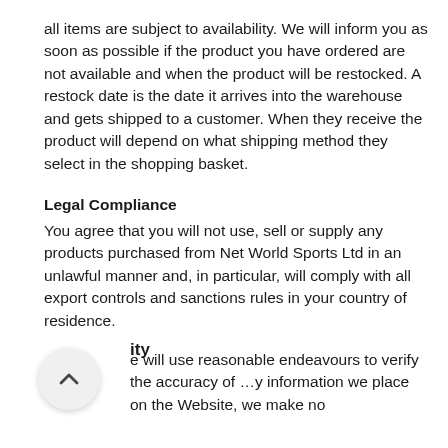all items are subject to availability. We will inform you as soon as possible if the product you have ordered are not available and when the product will be restocked. A restock date is the date it arrives into the warehouse and gets shipped to a customer. When they receive the product will depend on what shipping method they select in the shopping basket.
Legal Compliance
You agree that you will not use, sell or supply any products purchased from Net World Sports Ltd in an unlawful manner and, in particular, will comply with all export controls and sanctions rules in your country of residence.
…ity
…e will use reasonable endeavours to verify the accuracy of …y information we place on the Website, we make no …